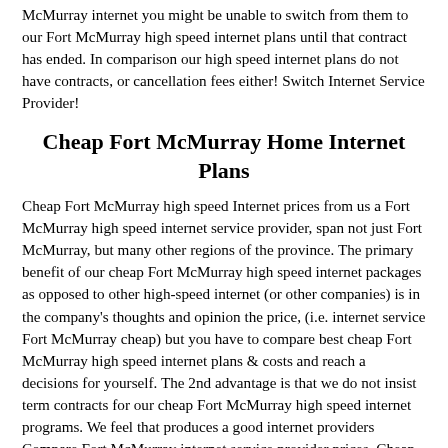McMurray internet you might be unable to switch from them to our Fort McMurray high speed internet plans until that contract has ended. In comparison our high speed internet plans do not have contracts, or cancellation fees either! Switch Internet Service Provider!
Cheap Fort McMurray Home Internet Plans
Cheap Fort McMurray high speed Internet prices from us a Fort McMurray high speed internet service provider, span not just Fort McMurray, but many other regions of the province. The primary benefit of our cheap Fort McMurray high speed internet packages as opposed to other high-speed internet (or other companies) is in the company's thoughts and opinion the price, (i.e. internet service Fort McMurray cheap) but you have to compare best cheap Fort McMurray high speed internet plans & costs and reach a decisions for yourself. The 2nd advantage is that we do not insist term contracts for our cheap Fort McMurray high speed internet programs. We feel that produces a good internet providers Compare Fort McMurray internet service provider prices. Cheap internet, & some of the very best internet plans Fort McMurray!
If Cheap & Take-Care-It-Delivers Neither...